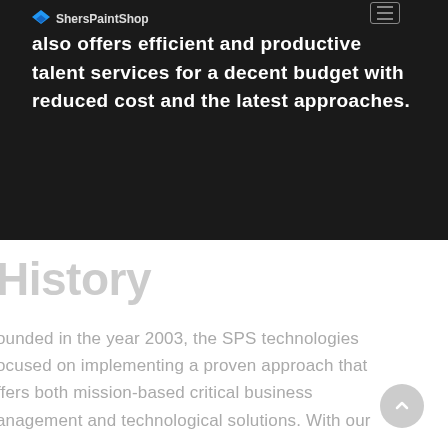ShersPaintShop
also offers efficient and productive talent services for a decent budget with reduced cost and the latest approaches.
History
ounded in the year 2003, the SPS technologies ocused on implementing a proven approach that ffers both mission-based critical business anagement and technological solutions. With our